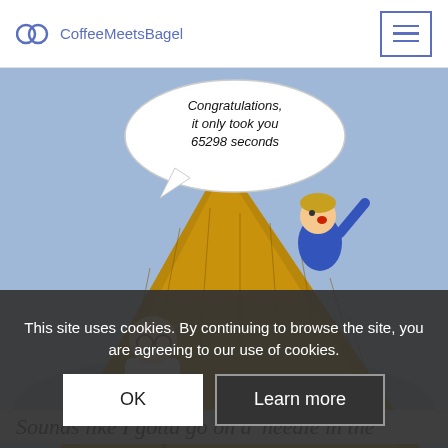CoffeeMeetsBagel
[Figure (illustration): A cartoon showing a bald man with glasses holding a pitchfork speaking to a person climbing out of a large haystack. Speech bubble reads: 'Congratulations, it only took you 65298 seconds']
This site uses cookies. By continuing to browse the site, you are agreeing to our use of cookies.
OK
Learn more
Sounds like I gotta go on a 'needle in the